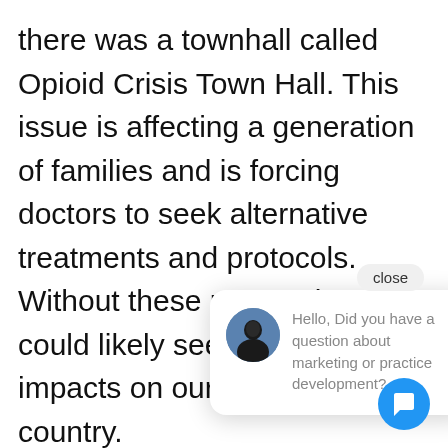there was a townhall called Opioid Crisis Town Hall. This issue is affecting a generation of families and is forcing doctors to seek alternative treatments and protocols. Without these new options, we could likely see devasting impacts on our society and country. Science is demand and What we that our bodies hold the secrets to our medical success in the future. Scientists and Doctors are
[Figure (screenshot): Chat widget popup showing a circular avatar photo of a person in dark clothing against a blue background, with the message: 'Hello, Did you have a question about marketing or practice development?' A 'close' button appears at top right, and a blue circular chat bubble icon is at the bottom right.]